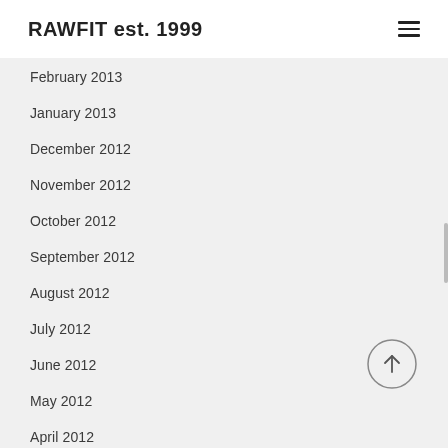RAWFIT est. 1999
February 2013
January 2013
December 2012
November 2012
October 2012
September 2012
August 2012
July 2012
June 2012
May 2012
April 2012
March 2012